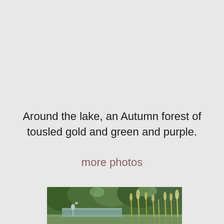Around the lake, an Autumn forest of tousled gold and green and purple.
more photos
[Figure (photo): A nature photograph showing a heron standing near water surrounded by lush green vegetation, tall grasses, and reeds in an autumnal lakeside setting.]